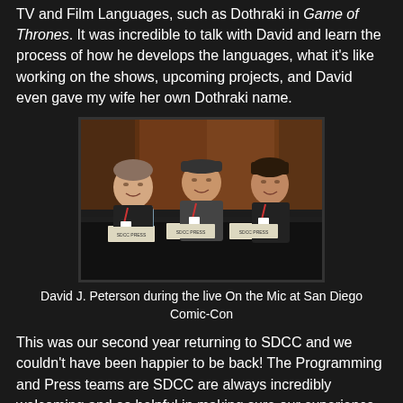TV and Film Languages, such as Dothraki in Game of Thrones. It was incredible to talk with David and learn the process of how he develops the languages, what it's like working on the shows, upcoming projects, and David even gave my wife her own Dothraki name.
[Figure (photo): Three men sitting at a panel table at San Diego Comic-Con, with name placards and water bottles on the table. They appear to be smiling and engaged in conversation. The venue has warm orange lighting in the background.]
David J. Peterson during the live On the Mic at San Diego Comic-Con
This was our second year returning to SDCC and we couldn't have been happier to be back! The Programming and Press teams are SDCC are always incredibly welcoming and so helpful in making sure our experience is incredible.